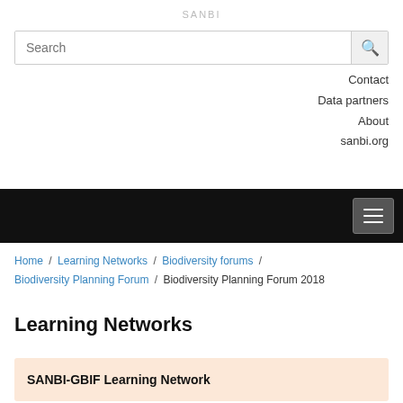SANBI
Search
Contact
Data partners
About
sanbi.org
Home / Learning Networks / Biodiversity forums / Biodiversity Planning Forum / Biodiversity Planning Forum 2018
Learning Networks
SANBI-GBIF Learning Network